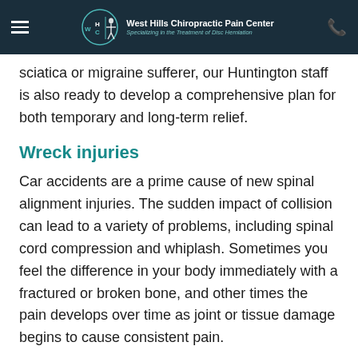West Hills Chiropractic Pain Center — Specializing in the Treatment of Disc Herniation
sciatica or migraine sufferer, our Huntington staff is also ready to develop a comprehensive plan for both temporary and long-term relief.
Wreck injuries
Car accidents are a prime cause of new spinal alignment injuries. The sudden impact of collision can lead to a variety of problems, including spinal cord compression and whiplash. Sometimes you feel the difference in your body immediately with a fractured or broken bone, and other times the pain develops over time as joint or tissue damage begins to cause consistent pain.